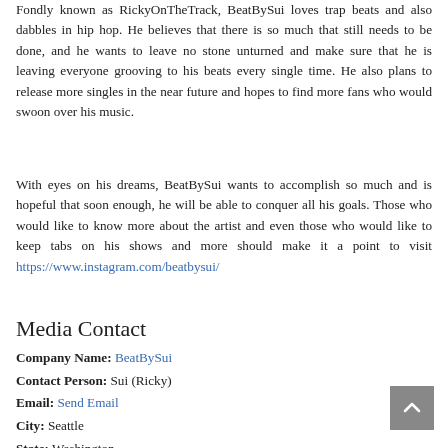Fondly known as RickyOnTheTrack, BeatBySui loves trap beats and also dabbles in hip hop. He believes that there is so much that still needs to be done, and he wants to leave no stone unturned and make sure that he is leaving everyone grooving to his beats every single time. He also plans to release more singles in the near future and hopes to find more fans who would swoon over his music.
With eyes on his dreams, BeatBySui wants to accomplish so much and is hopeful that soon enough, he will be able to conquer all his goals. Those who would like to know more about the artist and even those who would like to keep tabs on his shows and more should make it a point to visit https://www.instagram.com/beatbysui/
Media Contact
Company Name: BeatBySui
Contact Person: Sui (Ricky)
Email: Send Email
City: Seattle
State: Washington
Country: United States
Website: linktr.ee/beatbysui